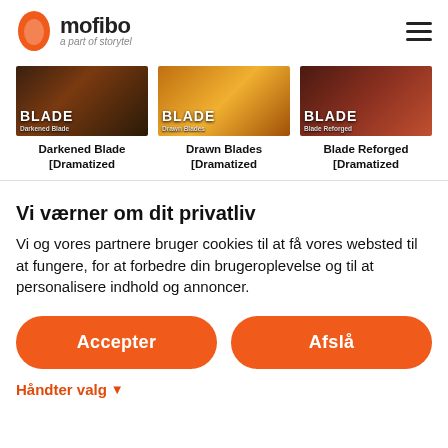[Figure (logo): Mofibo logo - orange leaf/speech bubble icon with 'mofibo' text and 'a part of storytel' subtitle]
[Figure (illustration): Three book covers side by side: Darkened Blade Dramatized, Drawn Blades Dramatized, Blade Reforged Dramatized]
Darkened Blade [Dramatized
Drawn Blades [Dramatized
Blade Reforged [Dramatized
Vi værner om dit privatliv
Vi og vores partnere bruger cookies til at få vores websted til at fungere, for at forbedre din brugeroplevelse og til at personalisere indhold og annoncer.
Accepter
Afslå
Håndter valg ❯